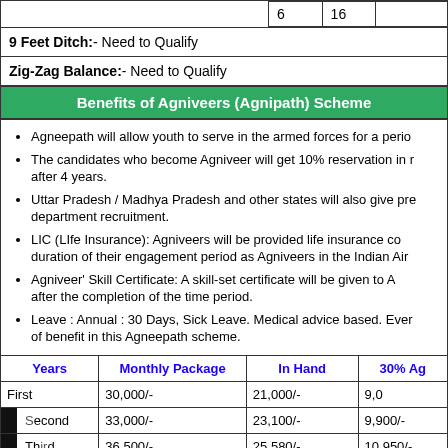|  | 6 | 16 |
| --- | --- | --- |
|  | 6 | 16 |
9 Feet Ditch:- Need to Qualify
Zig-Zag Balance:- Need to Qualify
Benefits of Agniveers (Agnipath) Scheme
Agneepath will allow youth to serve in the armed forces for a perio...
The candidates who become Agniveer will get 10% reservation in r... after 4 years.
Uttar Pradesh / Madhya Pradesh and other states will also give pre... department recruitment.
LIC (LIfe Insurance): Agniveers will be provided life insurance co... duration of their engagement period as Agniveers in the Indian Air...
Agniveer' Skill Certificate: A skill-set certificate will be given to A... after the completion of the time period.
Leave : Annual : 30 Days, Sick Leave. Medical advice based. Ever... of benefit in this Agneepath scheme.
| Years | Monthly Package | In Hand | 30% Ag... |
| --- | --- | --- | --- |
| First | 30,000/- | 21,000/- | 9,0... |
| Second | 33,000/- | 23,100/- | 9,900/- |
| Third | 36,500/- | 25,580/- | 10,950/- |
| Fourth | 40,000/- | 28,000/- | 12,000/- |